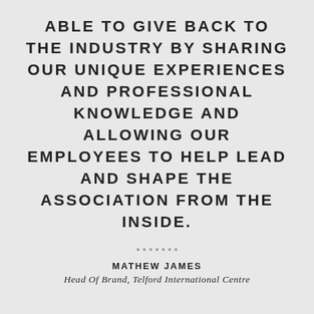ABLE TO GIVE BACK TO THE INDUSTRY BY SHARING OUR UNIQUE EXPERIENCES AND PROFESSIONAL KNOWLEDGE AND ALLOWING OUR EMPLOYEES TO HELP LEAD AND SHAPE THE ASSOCIATION FROM THE INSIDE.
.......
MATHEW JAMES
Head Of Brand, Telford International Centre